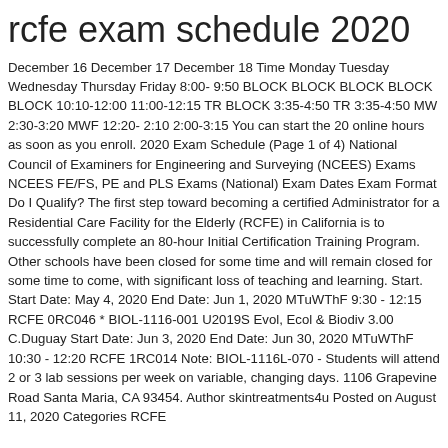rcfe exam schedule 2020
December 16 December 17 December 18 Time Monday Tuesday Wednesday Thursday Friday 8:00- 9:50 BLOCK BLOCK BLOCK BLOCK BLOCK 10:10-12:00 11:00-12:15 TR BLOCK 3:35-4:50 TR 3:35-4:50 MW 2:30-3:20 MWF 12:20- 2:10 2:00-3:15 You can start the 20 online hours as soon as you enroll. 2020 Exam Schedule (Page 1 of 4) National Council of Examiners for Engineering and Surveying (NCEES) Exams NCEES FE/FS, PE and PLS Exams (National) Exam Dates Exam Format Do I Qualify? The first step toward becoming a certified Administrator for a Residential Care Facility for the Elderly (RCFE) in California is to successfully complete an 80-hour Initial Certification Training Program. Other schools have been closed for some time and will remain closed for some time to come, with significant loss of teaching and learning. Start. Start Date: May 4, 2020 End Date: Jun 1, 2020 MTuWThF 9:30 - 12:15 RCFE 0RC046 * BIOL-1116-001 U2019S Evol, Ecol & Biodiv 3.00 C.Duguay Start Date: Jun 3, 2020 End Date: Jun 30, 2020 MTuWThF 10:30 - 12:20 RCFE 1RC014 Note: BIOL-1116L-070 - Students will attend 2 or 3 lab sessions per week on variable, changing days. 1106 Grapevine Road Santa Maria, CA 93454. Author skintreatments4u Posted on August 11, 2020 Categories RCFE